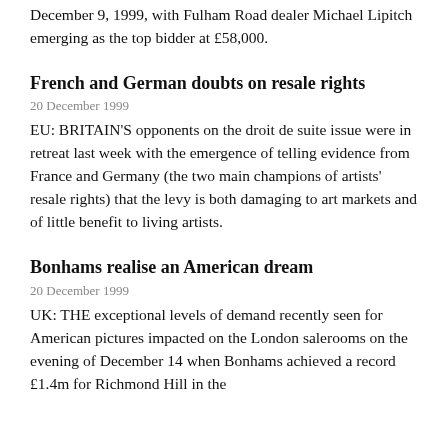December 9, 1999, with Fulham Road dealer Michael Lipitch emerging as the top bidder at £58,000.
French and German doubts on resale rights
20 December 1999
EU: BRITAIN'S opponents on the droit de suite issue were in retreat last week with the emergence of telling evidence from France and Germany (the two main champions of artists' resale rights) that the levy is both damaging to art markets and of little benefit to living artists.
Bonhams realise an American dream
20 December 1999
UK: THE exceptional levels of demand recently seen for American pictures impacted on the London salerooms on the evening of December 14 when Bonhams achieved a record £1.4m for Richmond Hill in the foreground of 1999 by the Hudson River School and